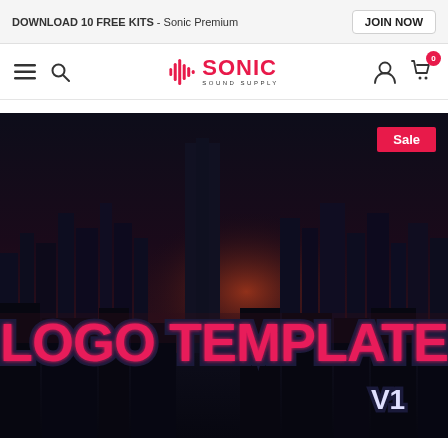DOWNLOAD 10 FREE KITS - Sonic Premium JOIN NOW
[Figure (logo): Sonic Sound Supply logo with waveform icon in red and text]
[Figure (photo): Logo Template V1 product image - dark city skyline background with graffiti-style text reading LOGO TEMPLATE V1 in pink/red, with a Sale badge in top right corner]